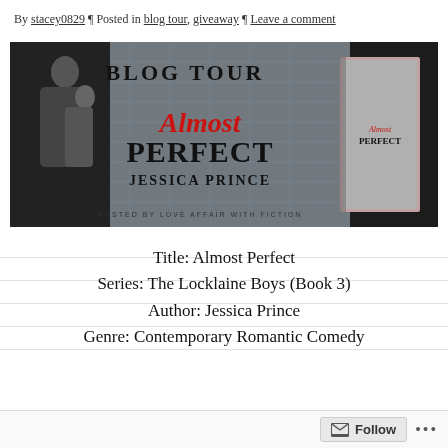By stacey0829 ¶ Posted in blog tour, giveaway ¶ Leave a comment
[Figure (illustration): Blog Tour banner for 'Almost Perfect' by Jessica Prince. Black and white photo of a couple embracing on the left, large text 'BLOG TOUR' and stylized 'Almost PERFECT JESSICA PRINCE' in center, book cover image on right, 'HOSTED BY LOVE AFFAIR WITH FICTION' at bottom.]
Title: Almost Perfect
Series: The Locklaine Boys (Book 3)
Author: Jessica Prince
Genre: Contemporary Romantic Comedy
Follow